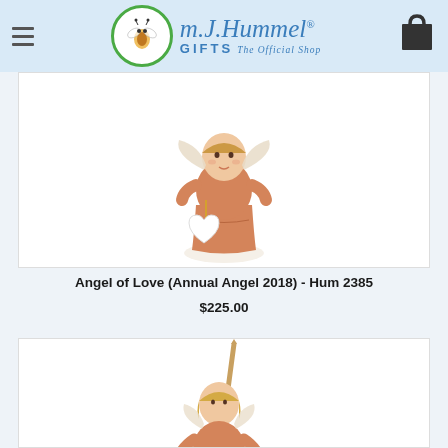M.J. Hummel Gifts - The Official Shop
[Figure (photo): Hummel figurine - Angel of Love (Annual Angel 2018) Hum 2385, showing a small ceramic angel figure in peach/orange robe holding a white heart ornament, on a white base]
Angel of Love (Annual Angel 2018) - Hum 2385
$225.00
[Figure (photo): Hummel figurine - second angel figurine in peach/orange robe, holding a large arrow or staff and a white heart ornament, partially visible]